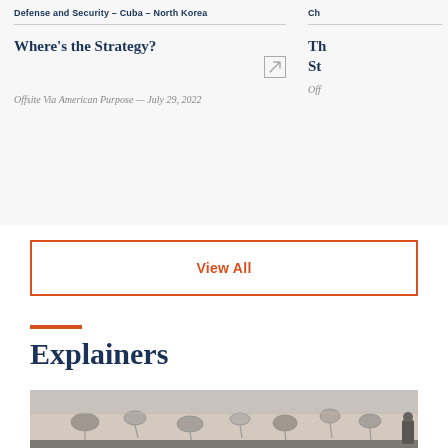Defense and Security – Cuba – North Korea
Where's the Strategy?
Offsite Via American Purpose — July 29, 2022
Ch...
Th... St...
Off...
View All
Explainers
[Figure (photo): Photograph of a Middle Eastern urban rooftop scene with multiple satellite dishes mounted on a tan/beige building wall, people visible at the right edge.]